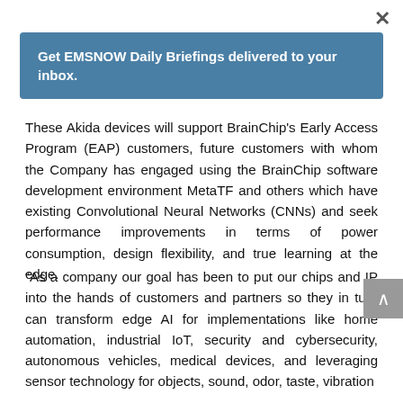×
Get EMSNOW Daily Briefings delivered to your inbox.
These Akida devices will support BrainChip's Early Access Program (EAP) customers, future customers with whom the Company has engaged using the BrainChip software development environment MetaTF and others which have existing Convolutional Neural Networks (CNNs) and seek performance improvements in terms of power consumption, design flexibility, and true learning at the edge.
“As a company our goal has been to put our chips and IP into the hands of customers and partners so they in turn can transform edge AI for implementations like home automation, industrial IoT, security and cybersecurity, autonomous vehicles, medical devices, and leveraging sensor technology for objects, sound, odor, taste, vibration